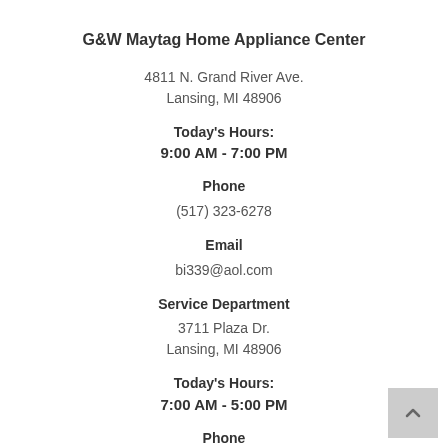G&W Maytag Home Appliance Center
4811 N. Grand River Ave.
Lansing, MI 48906
Today's Hours:
9:00 AM - 7:00 PM
Phone
(517) 323-6278
Email
bi339@aol.com
Service Department
3711 Plaza Dr.
Lansing, MI 48906
Today's Hours:
7:00 AM - 5:00 PM
Phone
(517) 323-4895
Service
gwmaytag@gmail.com